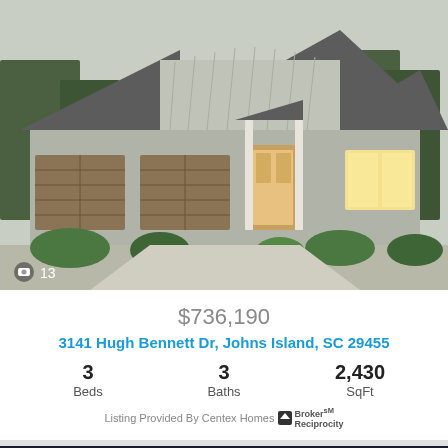[Figure (photo): Exterior front view of a modern single-story craftsman-style home with gray siding, double garage, and landscaping. Photo count badge shows 13 photos.]
$736,190
3141 Hugh Bennett Dr, Johns Island, SC 29455
3 Beds   3 Baths   2,430 SqFt
Listing Provided By Centex Homes — Broker Reciprocity
[Figure (photo): Exterior front view of a two-story home at sunset/dusk with warm orange sky, porch with railing, and dormer windows. Heart/favorite icon in top right.]